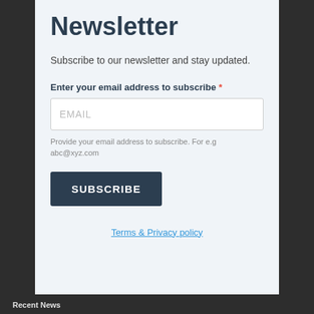Newsletter
Subscribe to our newsletter and stay updated.
Enter your email address to subscribe *
EMAIL
Provide your email address to subscribe. For e.g abc@xyz.com
SUBSCRIBE
Terms & Privacy policy
Recent News